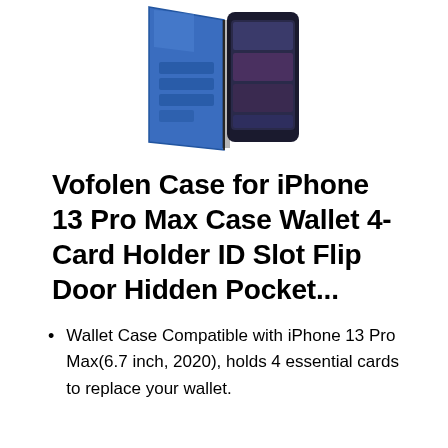[Figure (photo): Product photo of a blue and black iPhone wallet case shown open, displaying card slots on one side and the phone on the other side.]
Vofolen Case for iPhone 13 Pro Max Case Wallet 4-Card Holder ID Slot Flip Door Hidden Pocket...
Wallet Case Compatible with iPhone 13 Pro Max(6.7 inch, 2020), holds 4 essential cards to replace your wallet.